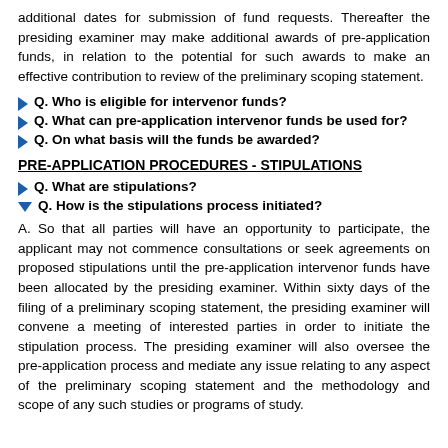additional dates for submission of fund requests. Thereafter the presiding examiner may make additional awards of pre-application funds, in relation to the potential for such awards to make an effective contribution to review of the preliminary scoping statement.
Q. Who is eligible for intervenor funds?
Q. What can pre-application intervenor funds be used for?
Q. On what basis will the funds be awarded?
PRE-APPLICATION PROCEDURES - STIPULATIONS
Q. What are stipulations?
Q. How is the stipulations process initiated?
A. So that all parties will have an opportunity to participate, the applicant may not commence consultations or seek agreements on proposed stipulations until the pre-application intervenor funds have been allocated by the presiding examiner. Within sixty days of the filing of a preliminary scoping statement, the presiding examiner will convene a meeting of interested parties in order to initiate the stipulation process. The presiding examiner will also oversee the pre-application process and mediate any issue relating to any aspect of the preliminary scoping statement and the methodology and scope of any such studies or programs of study.